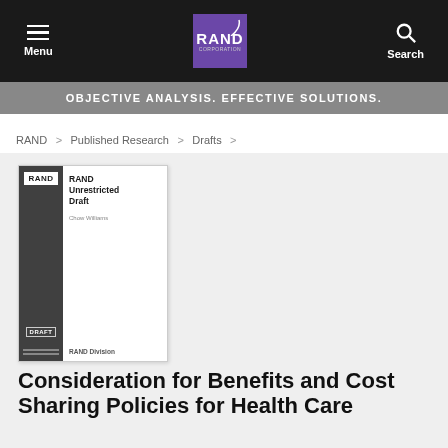Menu | RAND Corporation | Search
OBJECTIVE ANALYSIS. EFFECTIVE SOLUTIONS.
RAND > Published Research > Drafts >
[Figure (illustration): RAND Corporation book cover thumbnail showing a grey spine with RAND label and DRAFT text, white main panel with title 'RAND Unrestricted Draft', author name, and RAND Division at bottom]
Consideration for Benefits and Cost Sharing Policies for Health Care